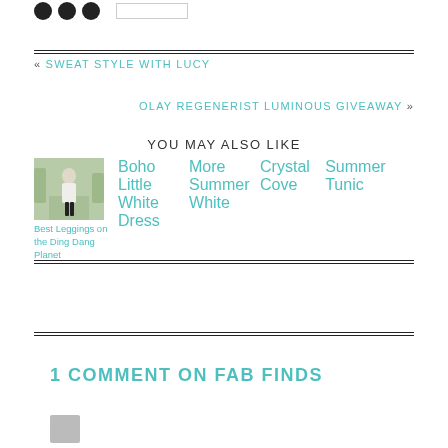[Figure (other): Three black social media circles and a search box]
« SWEAT STYLE WITH LUCY
OLAY REGENERIST LUMINOUS GIVEAWAY »
YOU MAY ALSO LIKE
[Figure (photo): Thumbnail photo of woman in white top and black leggings outdoors on a path]
Best Leggings on the Ding Dang Planet
Boho Little White Dress
More Summer White
Crystal Cove
Summer Tunic
1 COMMENT ON FAB FINDS
[Figure (photo): Small commenter avatar placeholder (grey box)]